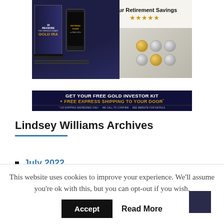[Figure (illustration): Gold IRA advertisement showing books titled '10 Reasons You Should Start a Gold IRA', a mobile phone with 'Retirees Guide to IRA & 401k', a coin catalog with gold and silver coins. Text: 'Your Retirement Savings', five gold stars, 'GET YOUR FREE GOLD INVESTOR KIT + FREE EXPRESS SHIPPING TO YOUR DOOR*', '* US SHIPPING ADDRESSES ONLY - WE CALL TO CONFIRM - SEE WEBSITE FOR DETAILS']
Lindsey Williams Archives
July 2022
This website uses cookies to improve your experience. We'll assume you're ok with this, but you can opt-out if you wish.
Accept  Read More